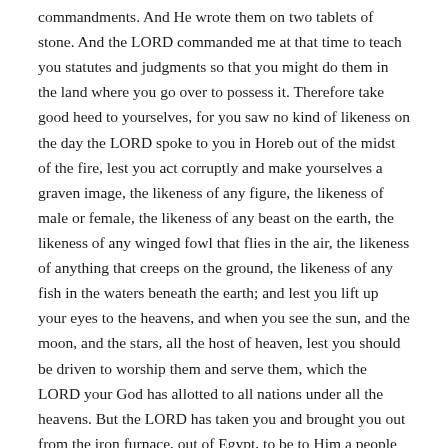commandments. And He wrote them on two tablets of stone. And the LORD commanded me at that time to teach you statutes and judgments so that you might do them in the land where you go over to possess it. Therefore take good heed to yourselves, for you saw no kind of likeness on the day the LORD spoke to you in Horeb out of the midst of the fire, lest you act corruptly and make yourselves a graven image, the likeness of any figure, the likeness of male or female, the likeness of any beast on the earth, the likeness of any winged fowl that flies in the air, the likeness of anything that creeps on the ground, the likeness of any fish in the waters beneath the earth; and lest you lift up your eyes to the heavens, and when you see the sun, and the moon, and the stars, all the host of heaven, lest you should be driven to worship them and serve them, which the LORD your God has allotted to all nations under all the heavens. But the LORD has taken you and brought you out from the iron furnace, out of Egypt, to be to Him a people of inheritance, as you are today. And the LORD was angry with me for your sakes, and swore that I should not go over Jordan, and that I should not go in to that good land which the LORD your God gives you for an inheritance. But I must die in this land; I must not go over Jordan. But you shall go over and possess that good land. Take heed to yourselves, lest you forget the covenant of the LORD your God, which He made with you, and make you a graven image, a